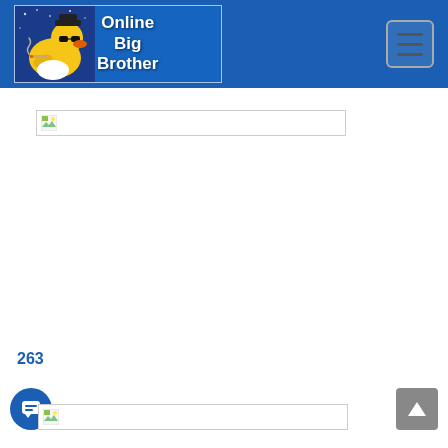[Figure (logo): Online Big Brother website header with a rubber duck wearing sunglasses and a hat, blue background with white text reading 'Online Big Brother']
[Figure (other): Hamburger/toggle navigation menu button in the top right of the header]
[Figure (screenshot): Broken image placeholder in main content area]
263
[Figure (other): Chat/message button (blue circle with speech bubble icon)]
[Figure (screenshot): Second broken image placeholder near bottom of page]
[Figure (other): Scroll to top button (grey rectangle with up arrow)]